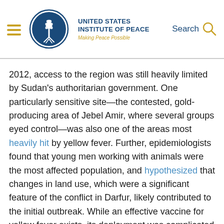United States Institute of Peace — Making Peace Possible
2012, access to the region was still heavily limited by Sudan's authoritarian government. One particularly sensitive site—the contested, gold-producing area of Jebel Amir, where several groups eyed control—was also one of the areas most heavily hit by yellow fever. Further, epidemiologists found that young men working with animals were the most affected population, and hypothesized that changes in land use, which were a significant feature of the conflict in Darfur, likely contributed to the initial outbreak. While an effective vaccine for yellow fever exists, its deployment was complicated by the legacy of conflict, with almost three months passing before a campaign